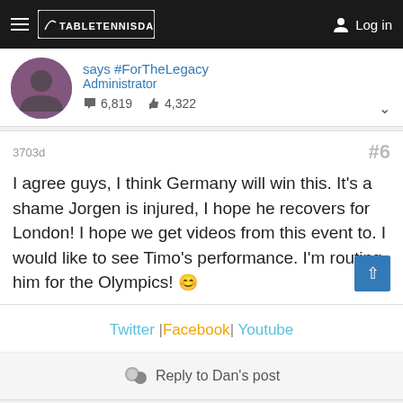TableTennisDaily – Log in
says #ForTheLegacy
Administrator
6,819  4,322
3703d  #6
I agree guys, I think Germany will win this. It's a shame Jorgen is injured, I hope he recovers for London! I hope we get videos from this event to. I would like to see Timo's performance. I'm routing him for the Olympics! 🙂
Twitter |Facebook| Youtube
Reply to Dan's post
Michal_Z ○